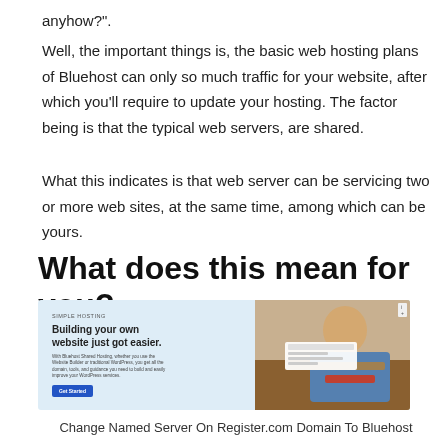anyhow?".
Well, the important things is, the basic web hosting plans of Bluehost can only so much traffic for your website, after which you'll require to update your hosting. The factor being is that the typical web servers, are shared.
What this indicates is that web server can be servicing two or more web sites, at the same time, among which can be yours.
What does this mean for you?
[Figure (screenshot): Screenshot of Bluehost website showing 'Building your own website just got easier.' heading with a photo of a chef cooking, and a blue 'Get Started' button.]
Change Named Server On Register.com Domain To Bluehost